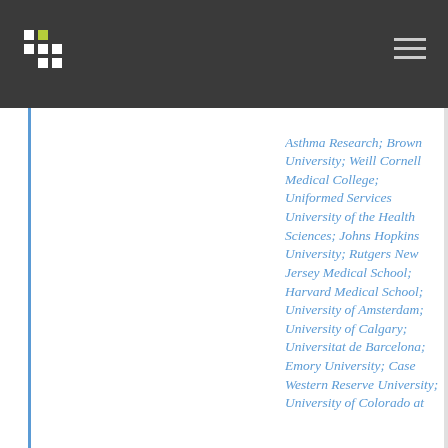Asthma Research; Brown University; Weill Cornell Medical College; Uniformed Services University of the Health Sciences; Johns Hopkins University; Rutgers New Jersey Medical School; Harvard Medical School; University of Amsterdam; University of Calgary; Universitat de Barcelona; Emory University; Case Western Reserve University; University of Colorado at